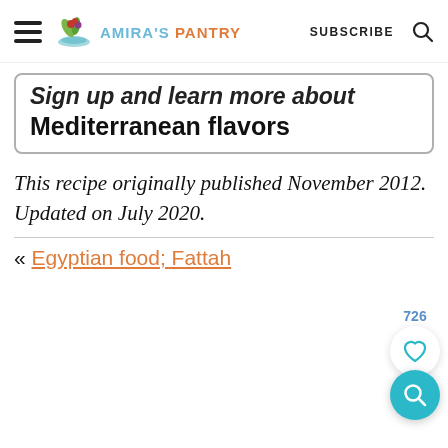AMIRA'S PANTRY — SUBSCRIBE
Sign up and learn more about Mediterranean flavors
This recipe originally published November 2012. Updated on July 2020.
726
« Egyptian food; Fattah